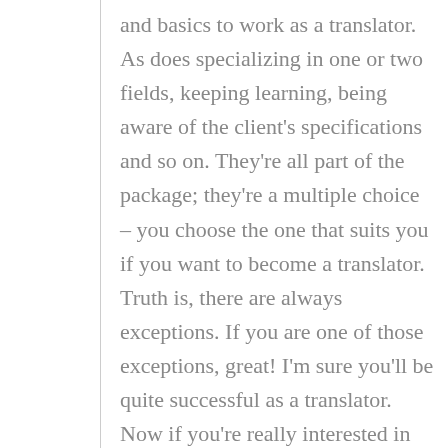and basics to work as a translator. As does specializing in one or two fields, keeping learning, being aware of the client's specifications and so on. They're all part of the package; they're a multiple choice – you choose the one that suits you if you want to become a translator. Truth is, there are always exceptions. If you are one of those exceptions, great! I'm sure you'll be quite successful as a translator. Now if you're really interested in